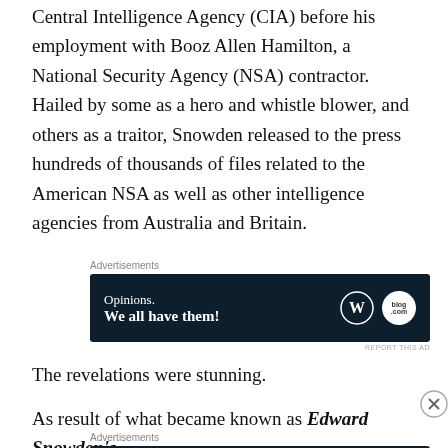Central Intelligence Agency (CIA) before his employment with Booz Allen Hamilton, a National Security Agency (NSA) contractor.  Hailed by some as a hero and whistle blower, and others as a traitor, Snowden released to the press hundreds of thousands of files related to the American NSA as well as other intelligence agencies from Australia and Britain.
[Figure (other): Advertisement banner: dark navy background with 'Opinions. We all have them!' text and WordPress + blog.com logos]
The revelations were stunning.
As result of what became known as Edward Snowden's
[Figure (other): Advertisement banner: dark navy background with tree/person icon, 'Launch your online course with WordPress' text in teal, and 'Learn More' button]